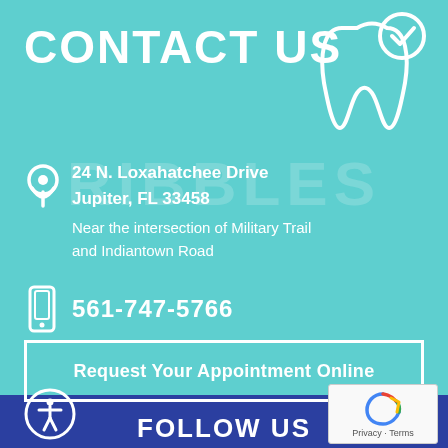CONTACT US
24 N. Loxahatchee Drive Jupiter, FL 33458
Near the intersection of Military Trail and Indiantown Road
561-747-5766
Request Your Appointment Online
FOLLOW US